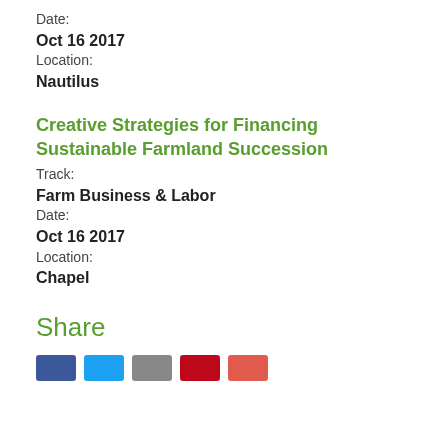Date:
Oct 16 2017
Location:
Nautilus
Creative Strategies for Financing Sustainable Farmland Succession
Track:
Farm Business & Labor
Date:
Oct 16 2017
Location:
Chapel
Share